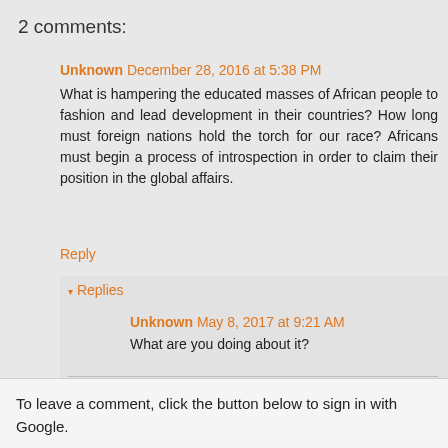2 comments:
Unknown December 28, 2016 at 5:38 PM
What is hampering the educated masses of African people to fashion and lead development in their countries? How long must foreign nations hold the torch for our race? Africans must begin a process of introspection in order to claim their position in the global affairs.
Reply
▾ Replies
Unknown May 8, 2017 at 9:21 AM
What are you doing about it?
Reply
To leave a comment, click the button below to sign in with Google.